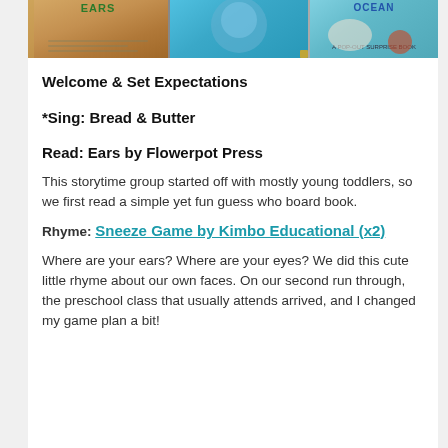[Figure (photo): Three children's book covers side by side: (1) 'Ears' by Flowerpot Press showing a furry animal ear, (2) a blue book with a character, (3) 'Ocean: A Pop-Out Surprise Book' showing octopus and crab.]
Welcome & Set Expectations
*Sing: Bread & Butter
Read: Ears by Flowerpot Press
This storytime group started off with mostly young toddlers, so we first read a simple yet fun guess who board book.
Rhyme: Sneeze Game by Kimbo Educational (x2)
Where are your ears? Where are your eyes? We did this cute little rhyme about our own faces. On our second run through, the preschool class that usually attends arrived, and I changed my game plan a bit!